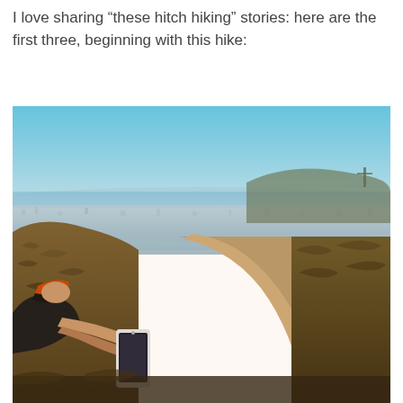I love sharing “these hitch hiking” stories: here are the first three, beginning with this hike:
[Figure (photo): A person sitting on a hiking trail overlook, holding a smartphone and photographing a panoramic view of a city and coastline below. The trail is sandy and winds through dry brush. The sky is clear blue with a hazy horizon over the ocean.]